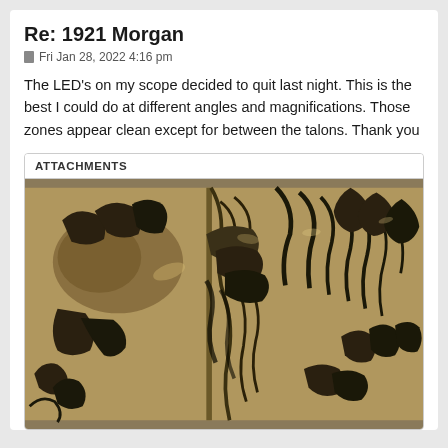Re: 1921 Morgan
Fri Jan 28, 2022 4:16 pm
The LED's on my scope decided to quit last night. This is the best I could do at different angles and magnifications. Those zones appear clean except for between the talons. Thank you
ATTACHMENTS
[Figure (photo): Close-up macro photograph of a 1921 Morgan silver dollar, showing the eagle's talons and feathers in high detail. The coin surface appears silver/bronze colored with detailed relief of talons, claws, and feathers visible.]